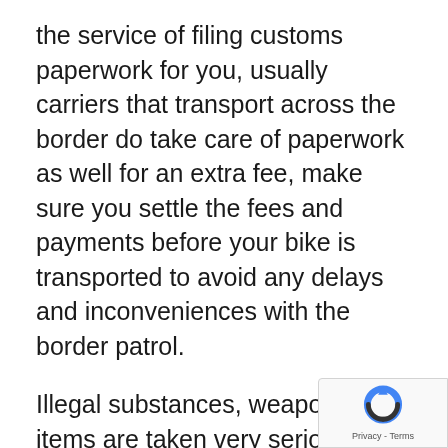the service of filing customs paperwork for you, usually carriers that transport across the border do take care of paperwork as well for an extra fee, make sure you settle the fees and payments before your bike is transported to avoid any delays and inconveniences with the border patrol.
Illegal substances, weapons and items are taken very seriously both in Canada and the United States, make sure you thoroughly check your car and confirm it is free from any of these items before it crosses the border. Border patrol inspects every carrier that passes through and if they find anything suspicious it will hold back the whole transportation fo further investigation. This will cause delay only for you but for the other customers
[Figure (logo): reCAPTCHA badge with circular arrow icon and Privacy - Terms text]